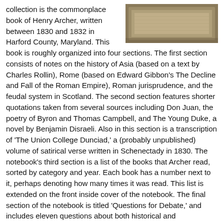[Figure (photo): A photograph of what appears to be a worn, tan/brown leather or fabric notebook cover, partially visible in the upper right corner of the page.]
collection is the commonplace book of Henry Archer, written between 1830 and 1832 in Harford County, Maryland. This book is roughly organized into four sections. The first section consists of notes on the history of Asia (based on a text by Charles Rollin), Rome (based on Edward Gibbon's The Decline and Fall of the Roman Empire), Roman jurisprudence, and the feudal system in Scotland. The second section features shorter quotations taken from several sources including Don Juan, the poetry of Byron and Thomas Campbell, and The Young Duke, a novel by Benjamin Disraeli. Also in this section is a transcription of 'The Union College Dunciad,' a (probably unpublished) volume of satirical verse written in Schenectady in 1830. The notebook's third section is a list of the books that Archer read, sorted by category and year. Each book has a number next to it, perhaps denoting how many times it was read. This list is extended on the front inside cover of the notebook. The final section of the notebook is titled 'Questions for Debate,' and includes eleven questions about both historical and contemporary political issues.; The Archer family was a prominent and politically active family of medical doctors based in Harford County, Maryland. John Archer was born in Maryland in 1741 and (due to the alphabetical antecedence of his last name) was the first person to receive a medical diploma in